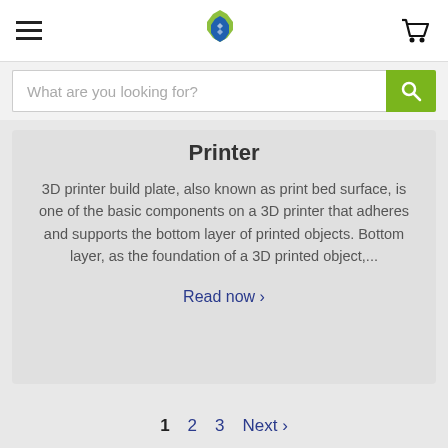[Figure (logo): Blue and green hexagon/gear logo in the center of the navigation bar]
What are you looking for?
Printer
3D printer build plate, also known as print bed surface, is one of the basic components on a 3D printer that adheres and supports the bottom layer of printed objects. Bottom layer, as the foundation of a 3D printed object,...
Read now ›
1  2  3  Next ›